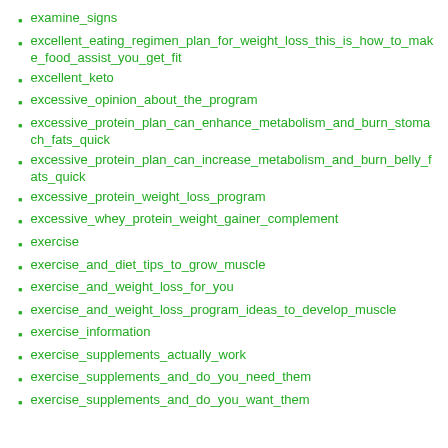examine_signs
excellent_eating_regimen_plan_for_weight_loss_this_is_how_to_make_food_assist_you_get_fit
excellent_keto
excessive_opinion_about_the_program
excessive_protein_plan_can_enhance_metabolism_and_burn_stomach_fats_quick
excessive_protein_plan_can_increase_metabolism_and_burn_belly_fats_quick
excessive_protein_weight_loss_program
excessive_whey_protein_weight_gainer_complement
exercise
exercise_and_diet_tips_to_grow_muscle
exercise_and_weight_loss_for_you
exercise_and_weight_loss_program_ideas_to_develop_muscle
exercise_information
exercise_supplements_actually_work
exercise_supplements_and_do_you_need_them
exercise_supplements_and_do_you_want_them